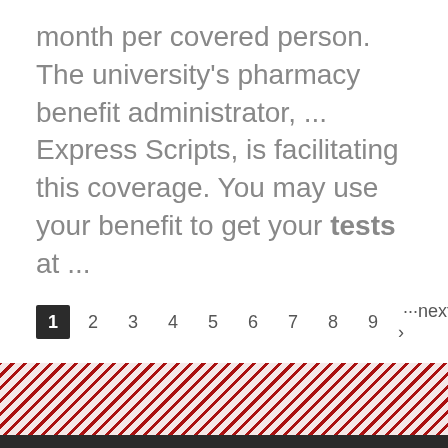month per covered person. The university's pharmacy benefit administrator, ... Express Scripts, is facilitating this coverage. You may use your benefit to get your tests at ...
1  2  3  4  5  6  7  8  9  ···next ›  last »
[Figure (illustration): Diagonal red and white striped decorative band]
LOCATE AN OFFICE
We connect with people in all stages of life, from young children to older adults. We work with